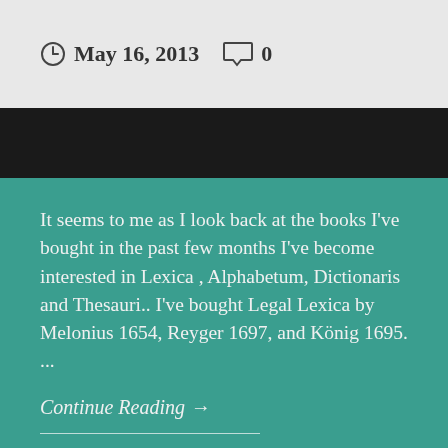May 16, 2013   0
It seems to me as I look back at the books I've bought in the past few months I've become interested in Lexica , Alphabetum, Dictionaris and Thesauri.. I've bought Legal Lexica by Melonius 1654, Reyger 1697, and König 1695.  ...
Continue Reading →
Share this: James Gray Bookseller
Like this: